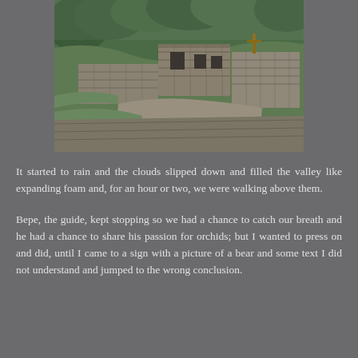[Figure (photo): Aerial/elevated view of ancient stone ruins, likely Machu Picchu or similar Inca site, with stone terraces, walls, and green hillsides with trees in background]
It started to rain and the clouds slipped down and filled the valley like expanding foam and, for an hour or two, we were walking above them.
Bepe, the guide, kept stopping so we had a chance to catch our breath and he had a chance to share his passion for orchids; but I wanted to press on and did, until I came to a sign with a picture of a bear and some text I did not understand and jumped to the wrong conclusion.